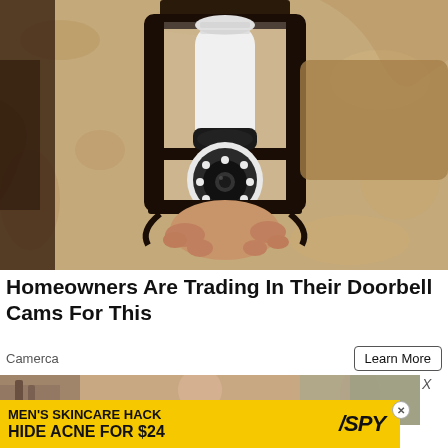[Figure (photo): A hand installing a security camera shaped like a light bulb into an ornate black outdoor wall lantern fixture mounted on a textured stucco wall.]
Homeowners Are Trading In Their Doorbell Cams For This
Camerca
Learn More
[Figure (photo): Partially visible second advertisement image showing a bathroom/interior scene]
[Figure (infographic): Advertisement banner: MEN'S SKINCARE HACK / HIDE ACNE FOR $24 with SPY logo on yellow background]